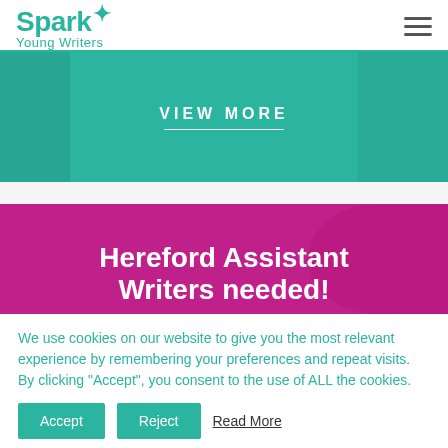Spark Young Writers
[Figure (photo): Teal/green banner with 'VIEW MORE' text and a horizontal white line beneath it, over a teal photo background]
[Figure (photo): Purple/magenta banner with 'Hereford Assistant Writers needed!' text over a purple blurred photo background]
We use cookies on our website to give you the most relevant experience by remembering your preferences and repeat visits. By clicking “Accept”, you consent to the use of ALL the cookies.
Accept  Reject  Read More